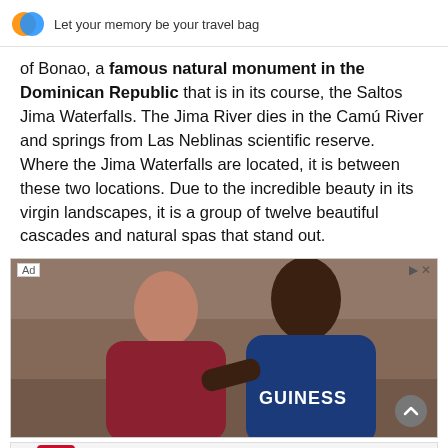Let your memory be your travel bag
of Bonao, a famous natural monument in the Dominican Republic that is in its course, the Saltos Jima Waterfalls. The Jima River dies in the Camú River and springs from Las Neblinas scientific reserve. Where the Jima Waterfalls are located, it is between these two locations. Due to the incredible beauty in its virgin landscapes, it is a group of twelve beautiful cascades and natural spas that stand out.
[Figure (photo): Advertisement photo showing two men, one with red beard in burgundy hoodie and one in blue Guinness hoodie, standing against a stone wall background. Ad label in top-left corner.]
[Figure (advertisement): CVS Pharmacy advertisement: Save When You Shop For Photo Gifts At CVS. Find Deals Today.]